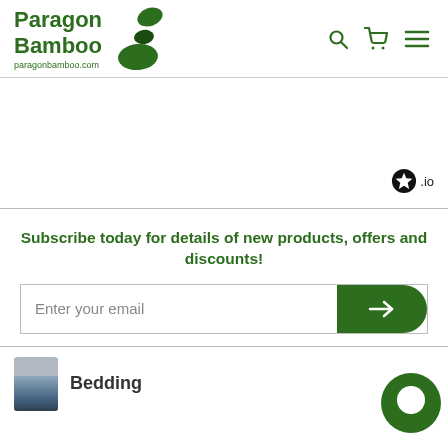[Figure (logo): Paragon Bamboo logo with green bamboo stone icons and text 'Paragon Bamboo' and 'paragonbamboo.com']
[Figure (infographic): Navigation icons: search, cart, and hamburger menu in green, plus a star badge with '.io' label]
Subscribe today for details of new products, offers and discounts!
Enter your email
Bedding